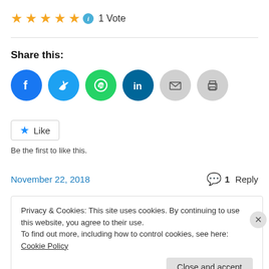[Figure (infographic): Five yellow/gold stars with a teal info icon, followed by '1 Vote' text]
Share this:
[Figure (infographic): Row of social sharing circular icon buttons: Facebook (blue), Twitter (light blue), WhatsApp (green), LinkedIn (dark teal), Email (grey), Print (grey)]
[Figure (infographic): Like button with blue star icon and 'Like' text, followed by 'Be the first to like this.' text below]
Be the first to like this.
November 22, 2018
1 Reply
Privacy & Cookies: This site uses cookies. By continuing to use this website, you agree to their use.
To find out more, including how to control cookies, see here: Cookie Policy
Close and accept